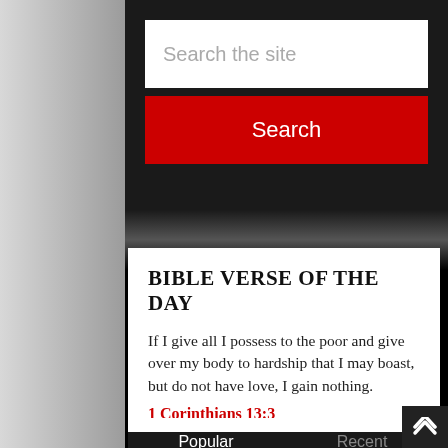Search the site
Search
BIBLE VERSE OF THE DAY
If I give all I possess to the poor and give over my body to hardship that I may boast, but do not have love, I gain nothing.
1 Corinthians 13:3
Popular
Recent